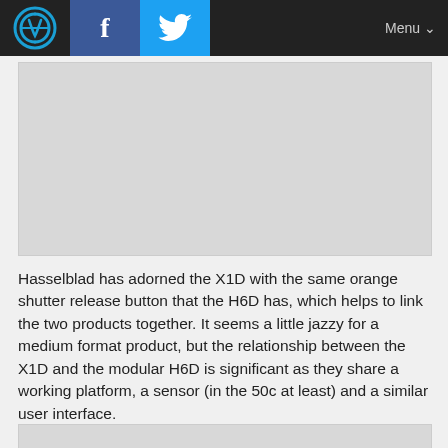Navigation bar with logo, Facebook, Twitter, Menu
[Figure (photo): Gray placeholder image block for a Hasselblad X1D product photo]
Hasselblad has adorned the X1D with the same orange shutter release button that the H6D has, which helps to link the two products together. It seems a little jazzy for a medium format product, but the relationship between the X1D and the modular H6D is significant as they share a working platform, a sensor (in the 50c at least) and a similar user interface.
[Figure (photo): Gray placeholder image block at the bottom of the page]